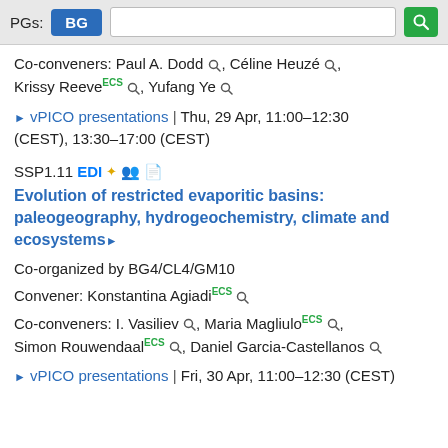PGs: BG [search box] [search button]
Co-conveners: Paul A. Dodd, Céline Heuzé, Krissy ReeveECS, Yufang Ye
▶ vPICO presentations | Thu, 29 Apr, 11:00–12:30 (CEST), 13:30–17:00 (CEST)
SSP1.11 EDI✦ 👥 📄
Evolution of restricted evaporitic basins: paleogeography, hydrogeochemistry, climate and ecosystems▶
Co-organized by BG4/CL4/GM10
Convener: Konstantina AgiadiECS
Co-conveners: I. Vasiliev, Maria MagliuloECS, Simon RouwendaalECS, Daniel Garcia-Castellanos
▶ vPICO presentations | Fri, 30 Apr, 11:00–12:30 (CEST)